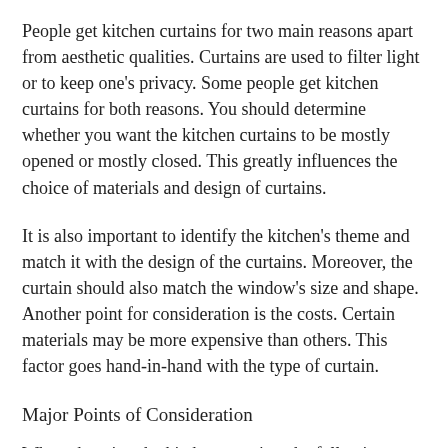People get kitchen curtains for two main reasons apart from aesthetic qualities. Curtains are used to filter light or to keep one's privacy. Some people get kitchen curtains for both reasons. You should determine whether you want the kitchen curtains to be mostly opened or mostly closed. This greatly influences the choice of materials and design of curtains.
It is also important to identify the kitchen's theme and match it with the design of the curtains. Moreover, the curtain should also match the window's size and shape. Another point for consideration is the costs. Certain materials may be more expensive than others. This factor goes hand-in-hand with the type of curtain.
Major Points of Consideration
When choosing the kitchen curtains, the following are...